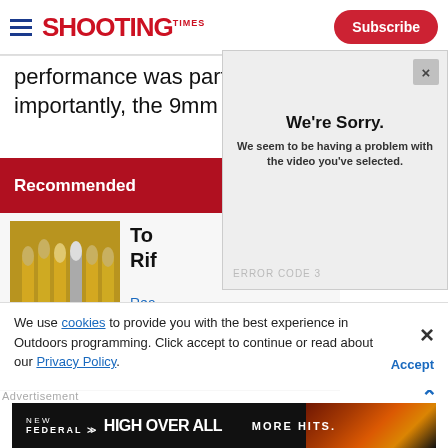Shooting Times — Subscribe
performance was part of it, but more importantly, the 9mm Luger happened.
Recommended
[Figure (screenshot): Video error overlay: 'We're Sorry. We seem to be having a problem with the video you've selected.' with error code and close button]
[Figure (photo): Thumbnail showing rifle cartridge bullets standing upright]
Top... Rif...
Rea...
We use cookies to provide you with the best experience in Outdoors programming. Click accept to continue or read about our Privacy Policy.
Advertisement
[Figure (screenshot): Federal Premium 'NEW HIGH OVER ALL — MORE HITS.' advertisement banner with fire imagery]